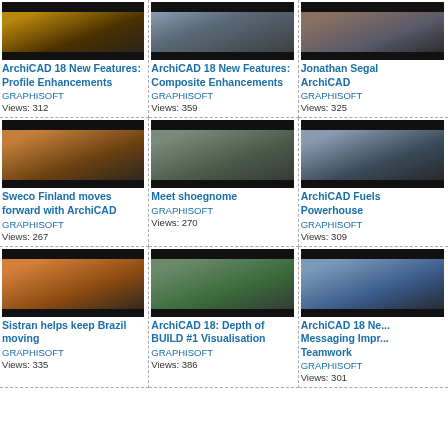[Figure (screenshot): Video thumbnail for ArchiCAD 18 New Features: Profile Enhancements]
ArchiCAD 18 New Features: Profile Enhancements
GRAPHISOFT
Views: 312
[Figure (screenshot): Video thumbnail for ArchiCAD 18 New Features: Composite Enhancements]
ArchiCAD 18 New Features: Composite Enhancements
GRAPHISOFT
Views: 359
[Figure (screenshot): Video thumbnail for Jonathan Segal ArchiCAD]
Jonathan Segal ArchiCAD
GRAPHISOFT
Views: 325
[Figure (screenshot): Video thumbnail for Sweco Finland moves forward with ArchiCAD]
Sweco Finland moves forward with ArchiCAD
GRAPHISOFT
Views: 267
[Figure (screenshot): Video thumbnail for Meet shoegnome]
Meet shoegnome
GRAPHISOFT
Views: 270
[Figure (screenshot): Video thumbnail for ArchiCAD Fuels Powerhouse]
ArchiCAD Fuels Powerhouse
GRAPHISOFT
Views: 309
[Figure (screenshot): Video thumbnail for Sistran helps keep Brazil moving]
Sistran helps keep Brazil moving
GRAPHISOFT
Views: 335
[Figure (screenshot): Video thumbnail for ArchiCAD 18: Depth of BUILD #1 Visualisation]
ArchiCAD 18: Depth of BUILD #1 Visualisation
GRAPHISOFT
Views: 386
[Figure (screenshot): Video thumbnail for ArchiCAD 18 New Messaging Improvements Teamwork]
ArchiCAD 18 New Messaging Improvements Teamwork
GRAPHISOFT
Views: 301